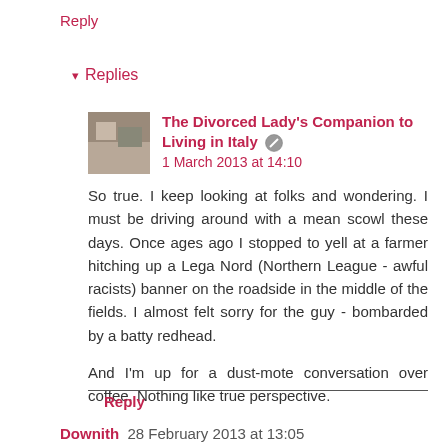Reply
▾ Replies
The Divorced Lady's Companion to Living in Italy 🔘 1 March 2013 at 14:10

So true. I keep looking at folks and wondering. I must be driving around with a mean scowl these days. Once ages ago I stopped to yell at a farmer hitching up a Lega Nord (Northern League - awful racists) banner on the roadside in the middle of the fields. I almost felt sorry for the guy - bombarded by a batty redhead.

And I'm up for a dust-mote conversation over coffee. Nothing like true perspective.
Reply
Downith 28 February 2013 at 13:05